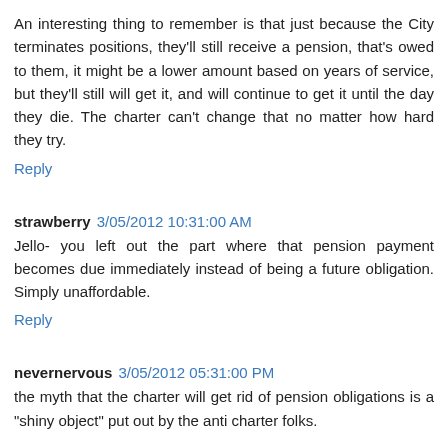An interesting thing to remember is that just because the City terminates positions, they'll still receive a pension, that's owed to them, it might be a lower amount based on years of service, but they'll still will get it, and will continue to get it until the day they die. The charter can't change that no matter how hard they try.
Reply
strawberry 3/05/2012 10:31:00 AM
Jello- you left out the part where that pension payment becomes due immediately instead of being a future obligation. Simply unaffordable.
Reply
nevernervous 3/05/2012 05:31:00 PM
the myth that the charter will get rid of pension obligations is a "shiny object" put out by the anti charter folks.